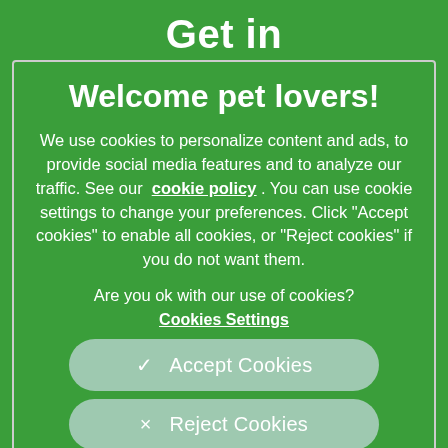Get in
Welcome pet lovers!
We use cookies to personalize content and ads, to provide social media features and to analyze our traffic. See our cookie policy. You can use cookie settings to change your preferences. Click "Accept cookies" to enable all cookies, or "Reject cookies" if you do not want them.
Are you ok with our use of cookies?
Cookies Settings
✓  Accept Cookies
×  Reject Cookies